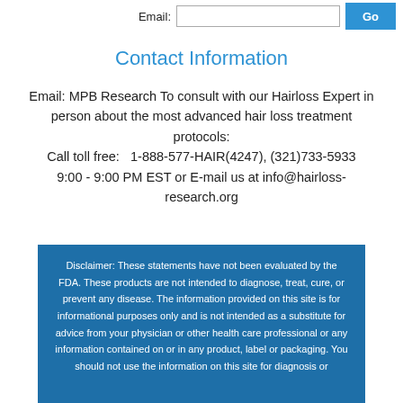Email: [input field] Go
Contact Information
Email: MPB Research To consult with our Hairloss Expert in person about the most advanced hair loss treatment protocols:
Call toll free:   1-888-577-HAIR(4247), (321)733-5933
9:00 - 9:00 PM EST or E-mail us at info@hairloss-research.org
Disclaimer: These statements have not been evaluated by the FDA. These products are not intended to diagnose, treat, cure, or prevent any disease. The information provided on this site is for informational purposes only and is not intended as a substitute for advice from your physician or other health care professional or any information contained on or in any product, label or packaging. You should not use the information on this site for diagnosis or